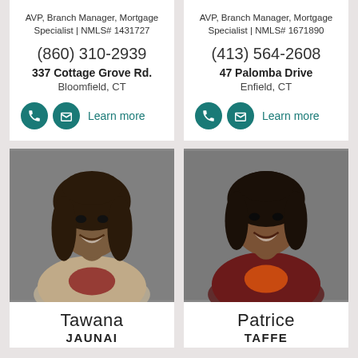AVP, Branch Manager, Mortgage Specialist | NMLS# 1431727
(860) 310-2939
337 Cottage Grove Rd.
Bloomfield, CT
Learn more
AVP, Branch Manager, Mortgage Specialist | NMLS# 1671890
(413) 564-2608
47 Palomba Drive
Enfield, CT
Learn more
[Figure (photo): Professional headshot of Tawana Jaunai, a woman with braided hair, smiling, wearing a beige blazer and red top]
Tawana JAUNAI
[Figure (photo): Professional headshot of Patrice Taffe, a woman with braided hair, smiling, wearing a burgundy blazer and orange top]
Patrice TAFFE